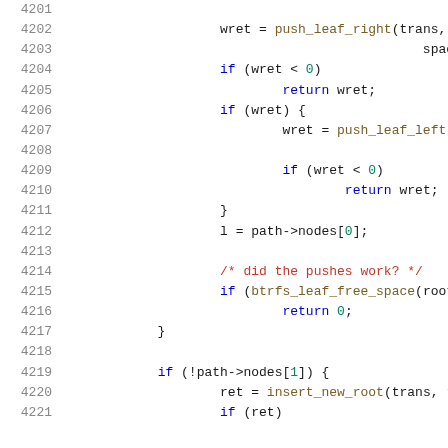Source code listing, lines 4201-4221, C kernel/btrfs code